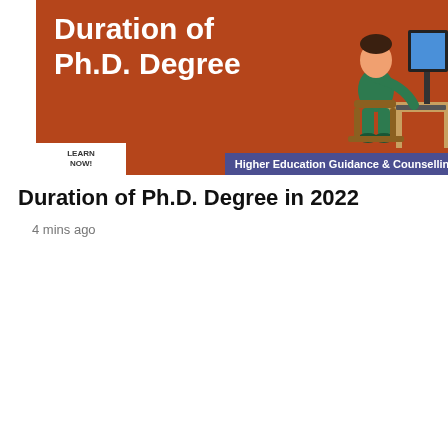[Figure (infographic): Banner image with orange/brown background showing 'Duration of Ph.D. Degree' title in white bold text, an illustration of a person sitting at a desk working on a computer, a 'LEARN NOW!' white box in the lower left, and a 'Higher Education Guidance & Counselling' blue badge in the lower right.]
Duration of Ph.D. Degree in 2022
4 mins ago
[Figure (infographic): Banner image with dark navy blue background containing a white inner box. Inside: 'Government of' in a light blue bordered box, 'AUSTRALIA' in large bold black text, 'JOBS – Send CV' in large teal text. A 'Scholarships in Australia' blue badge appears in the lower right corner.]